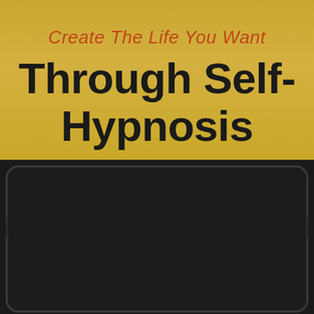Create The Life You Want
Through Self-Hypnosis
[Figure (illustration): A tablet device displaying a blurred/redacted screen with a circular logo on the left and text lines on the right, set against a dark background.]